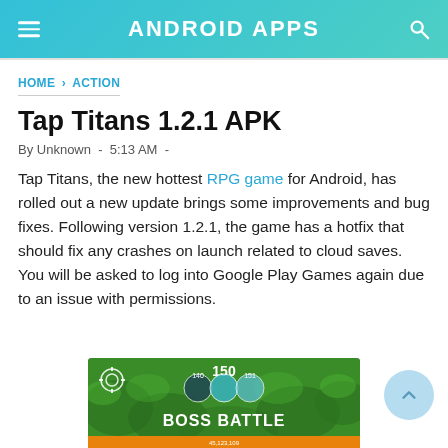ANDROID APPS
HOME › ACTION
Tap Titans 1.2.1 APK
By Unknown  -  5:13 AM  -
Tap Titans, the new hottest RPG game for Android, has rolled out a new update brings some improvements and bug fixes. Following version 1.2.1, the game has a hotfix that should fix any crashes on launch related to cloud saves. You will be asked to log into Google Play Games again due to an issue with permissions.
[Figure (screenshot): Screenshot of Tap Titans game showing a Boss Battle screen with the number 150 displayed and circular tap targets on a green background]